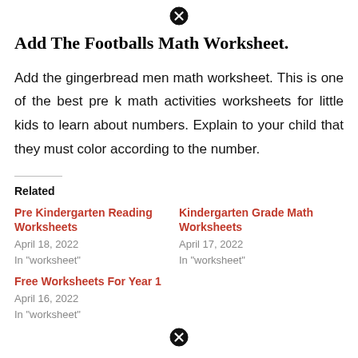[Figure (other): Close/X button icon at top center]
Add The Footballs Math Worksheet.
Add the gingerbread men math worksheet. This is one of the best pre k math activities worksheets for little kids to learn about numbers. Explain to your child that they must color according to the number.
Related
Pre Kindergarten Reading Worksheets
April 18, 2022
In "worksheet"
Kindergarten Grade Math Worksheets
April 17, 2022
In "worksheet"
Free Worksheets For Year 1
April 16, 2022
In "worksheet"
[Figure (other): Close/X button icon at bottom center]